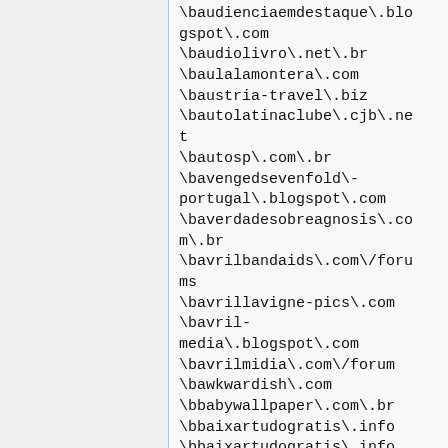\baudienciaemdestaque\.blogspot\.com
\baudiolivro\.net\.br
\baulalamontera\.com
\baustria-travel\.biz
\bautolatinaclube\.cjb\.net
\bautosp\.com\.br
\bavengedsevenfold\-portugal\.blogspot\.com
\baverdadesobreagnosis\.com\.br
\bavrilbandaids\.com\/forums
\bavrillavigne-pics\.com
\bavril-media\.blogspot\.com
\bavrilmidia\.com\/forum
\bawkwardish\.com
\bbabywallpaper\.com\.br
\bbaixartudogratis\.info
\bbaixartudogratis\.info
\bbalduran\.com\.br
\bbandvoip\.com\.br
\bbanbeiraspa\.com\.br